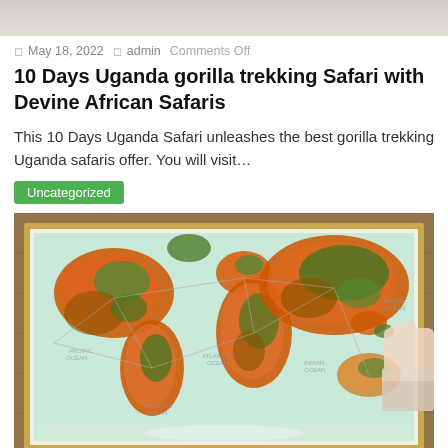[Figure (photo): Top strip image placeholder (partial image banner)]
May 18, 2022  admin  Comments Off
10 Days Uganda gorilla trekking Safari with Devine African Safaris
This 10 Days Uganda Safari unleashes the best gorilla trekking Uganda safaris offer. You will visit...
Uncategorized
[Figure (photo): A framed world map with colorful pins/markers in orange, green, red representing travel destinations. A person's hand is touching the map on the right side. The map is mounted on a wooden wall background.]